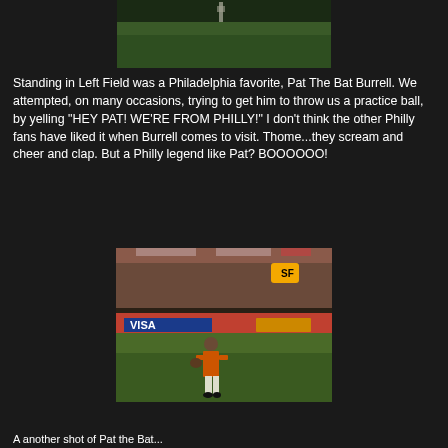[Figure (photo): Baseball player standing in outfield, green grass field visible, partial view cropped at top of page]
Standing in Left Field was a Philadelphia favorite, Pat The Bat Burrell. We attempted, on many occasions, trying to get him to throw us a practice ball, by yelling "HEY PAT! WE'RE FROM PHILLY!" I don't think the other Philly fans have liked it when Burrell comes to visit. Thome...they scream and cheer and clap. But a Philly legend like Pat? BOOOOOO!
[Figure (photo): Baseball player in orange Giants uniform standing on field in front of crowd, VISA advertisement banner visible behind outfield wall]
A another shot of Pat the Bat...